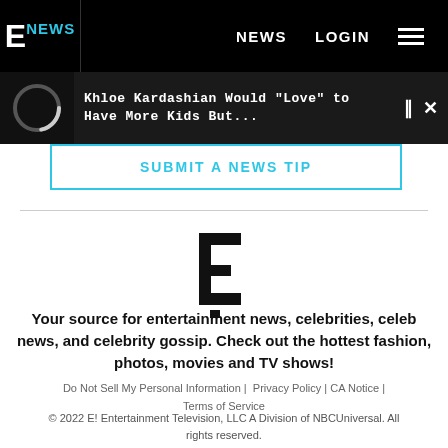E! NEWS | NEWS | LOGIN
Khloe Kardashian Would "Love" to Have More Kids But...
SUBMIT A NEWS TIP
[Figure (logo): Large E! logo mark, bold black letter E with dot]
Your source for entertainment news, celebrities, celeb news, and celebrity gossip. Check out the hottest fashion, photos, movies and TV shows!
Do Not Sell My Personal Information | Privacy Policy | CA Notice | Terms of Service
© 2022 E! Entertainment Television, LLC A Division of NBCUniversal. All rights reserved.